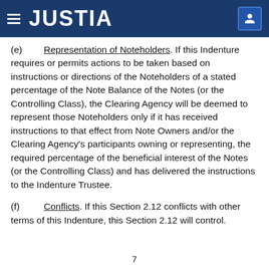JUSTIA
(e) Representation of Noteholders. If this Indenture requires or permits actions to be taken based on instructions or directions of the Noteholders of a stated percentage of the Note Balance of the Notes (or the Controlling Class), the Clearing Agency will be deemed to represent those Noteholders only if it has received instructions to that effect from Note Owners and/or the Clearing Agency's participants owning or representing, the required percentage of the beneficial interest of the Notes (or the Controlling Class) and has delivered the instructions to the Indenture Trustee.
(f) Conflicts. If this Section 2.12 conflicts with other terms of this Indenture, this Section 2.12 will control.
7